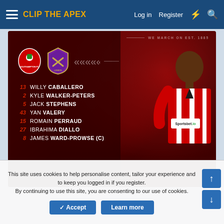CLIP THE APEX | Log in | Register
[Figure (photo): Southampton vs West Ham United match lineup graphic. Shows club badges, arrow chevrons, and a player in Southampton red and white striped kit. Listed players: 13 WILLY CABALLERO, 2 KYLE WALKER-PETERS, 5 JACK STEPHENS, 43 YAN VALERY, 15 ROMAIN PERRAUD, 27 IBRAHIMA DIALLO, and partially visible JAMES WARD-PROWSE (c). Text: WE MARCH ON EST. 1885. Sportsbet.io sponsor logo.]
This site uses cookies to help personalise content, tailor your experience and to keep you logged in if you register.
By continuing to use this site, you are consenting to our use of cookies.
Accept | Learn more